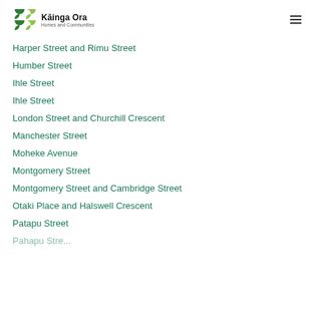Kāinga Ora Homes and Communities
Harper Street and Rimu Street
Humber Street
Ihle Street
Ihle Street
London Street and Churchill Crescent
Manchester Street
Moheke Avenue
Montgomery Street
Montgomery Street and Cambridge Street
Otaki Place and Halswell Crescent
Patapu Street
Pahapu Street